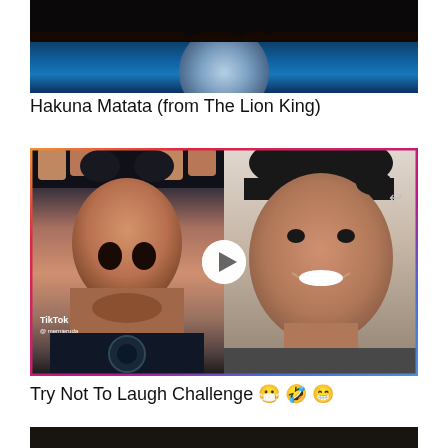[Figure (photo): Lion King movie poster/thumbnail showing silhouettes on a log against a large blue moon at night]
Hakuna Matata (from The Lion King)
[Figure (photo): TikTok video thumbnail showing split screen: left side close-up of face from below with nostrils visible and TikTok watermark, right side woman smiling at camera with black bangs. Colored gradient border around the thumbnail with a play button in the center.]
Try Not To Laugh Challenge 😷 🤣 😁
[Figure (photo): Partial view of a third video thumbnail at the bottom of the page (dark tones)]